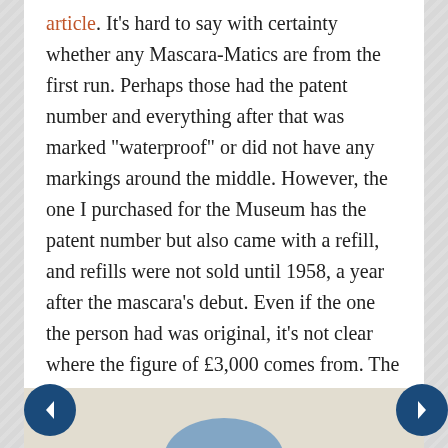article. It's hard to say with certainty whether any Mascara-Matics are from the first run. Perhaps those had the patent number and everything after that was marked "waterproof" or did not have any markings around the middle. However, the one I purchased for the Museum has the patent number but also came with a refill, and refills were not sold until 1958, a year after the mascara's debut. Even if the one the person had was original, it's not clear where the figure of £3,000 comes from. The Museum does not do valuations, but I will say Mascara-Matics, either with patent numbers or marked "waterproof" typically sell for about $50 so I can't see an original being worth 60 times more, unless there was proof it belonged to a celebrity or something like that. There was also a listing for one with a patent number at eBay - from what I can tell it was unsold with a starting bid of £49.95. If it was in fact sold, again, I can't see it going for £3,000 even in mint condition.
[Figure (photo): Partial image at the bottom of the page, appears to show a light-colored background with a partial blue object visible.]